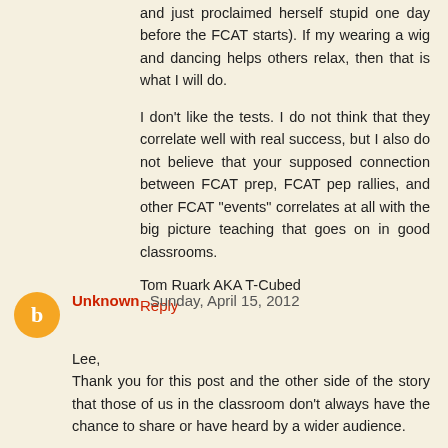and just proclaimed herself stupid one day before the FCAT starts). If my wearing a wig and dancing helps others relax, then that is what I will do.
I don't like the tests. I do not think that they correlate well with real success, but I also do not believe that your supposed connection between FCAT prep, FCAT pep rallies, and other FCAT "events" correlates at all with the big picture teaching that goes on in good classrooms.
Tom Ruark AKA T-Cubed
Reply
Unknown  Sunday, April 15, 2012
Lee,
Thank you for this post and the other side of the story that those of us in the classroom don't always have the chance to share or have heard by a wider audience.
This is my first year administering our state test, which has been scheduled for 2 weeks, well 2-3 students at a time...